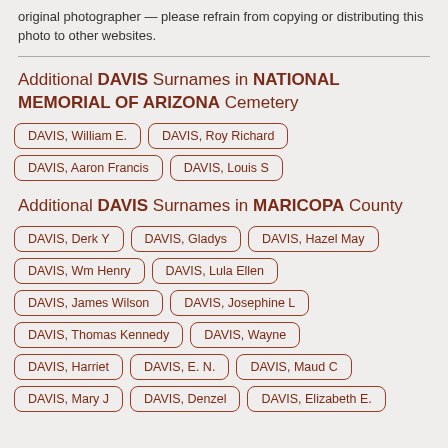original photographer — please refrain from copying or distributing this photo to other websites.
Additional DAVIS Surnames in NATIONAL MEMORIAL OF ARIZONA Cemetery
DAVIS, William E.
DAVIS, Roy Richard
DAVIS, Aaron Francis
DAVIS, Louis S
Additional DAVIS Surnames in MARICOPA County
DAVIS, Derk Y
DAVIS, Gladys
DAVIS, Hazel May
DAVIS, Wm Henry
DAVIS, Lula Ellen
DAVIS, James Wilson
DAVIS, Josephine L
DAVIS, Thomas Kennedy
DAVIS, Wayne
DAVIS, Harriet
DAVIS, E. N.
DAVIS, Maud C
DAVIS, Mary J
DAVIS, Denzel
DAVIS, Elizabeth E.